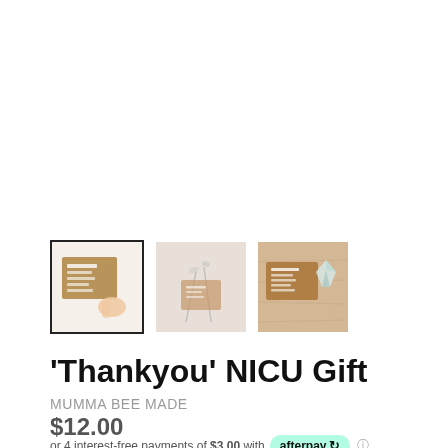[Figure (photo): Three product thumbnail images of a 'Thankyou' NICU Gift card. First thumbnail (selected, with black border) shows a hand holding a brown kraft paper card with white text. Second thumbnail shows the card on a neutral/beige background with floral elements. Third thumbnail shows the card on a wooden surface with a crystal/gem.]
'Thankyou' NICU Gift
MUMMA BEE MADE
$12.00
or 4 interest-free payments of $3.00 with afterpay ℹ